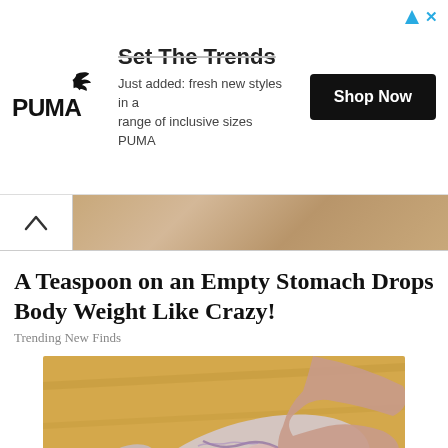[Figure (advertisement): PUMA advertisement banner with PUMA logo, 'Set The Trends' headline with strikethrough, subtitle 'Just added: fresh new styles in a range of inclusive sizes PUMA', and a black 'Shop Now' button. Navigation arrow and X close button in top right.]
[Figure (screenshot): Navigation bar with back chevron (^) button on white background and a strip of a stone/wood texture image.]
A Teaspoon on an Empty Stomach Drops Body Weight Like Crazy!
Trending New Finds
[Figure (photo): Close-up photo of an elderly person's foot/ankle being held by hands, showing visible blue-purple veins on pale skin, against a wooden floor background.]